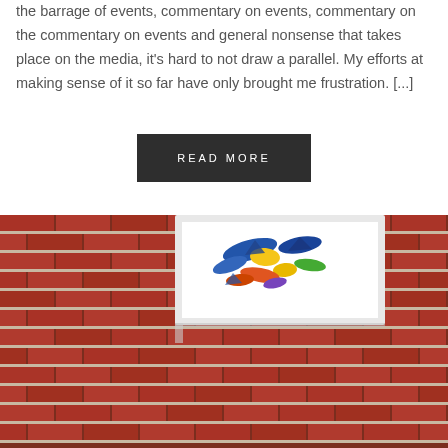the barrage of events, commentary on events, commentary on the commentary on events and general nonsense that takes place on the media, it’s hard to not draw a parallel. My efforts at making sense of it so far have only brought me frustration. […]
READ MORE
[Figure (photo): A framed artwork hung on a red brick wall. The artwork shows colorful abstract/bird-like shapes on a white background. The lower portion shows the textured red brick wall prominently.]